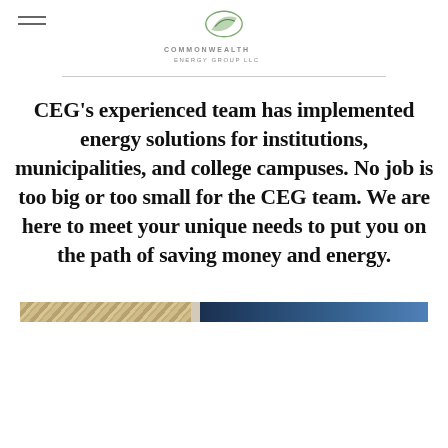Commonwealth Energy Group LLC logo
CEG's experienced team has implemented energy solutions for institutions, municipalities, and college campuses. No job is too big or too small for the CEG team. We are here to meet your unique needs to put you on the path of saving money and energy.
[Figure (photo): Decorative banner image split into two sections: left side shows a rope or cable texture in tan/gold tones, right side shows a dark navy to blue gradient panel.]